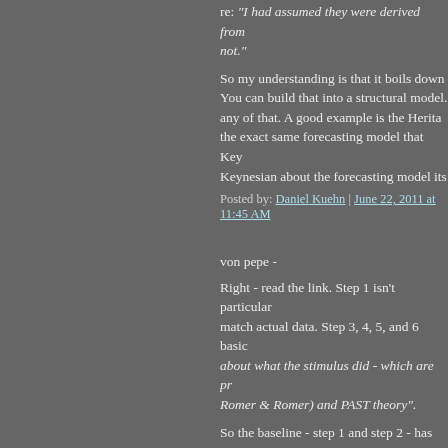re: "I had assumed they were derived from not."
So my understanding is that it boils down to You can build that into a structural model. any of that. A good example is the Heritage the exact same forecasting model that Key Keynesian about the forecasting model its
Posted by: Daniel Kuehn | June 22, 2011 at 11:45 AM
von pepe -
Right - read the link. Step 1 isn't particulary match actual data. Step 3, 4, 5, and 6 basic about what the stimulus did - which are pr Romer & Romer) and PAST theory".
So the baseline - step 1 and step 2 - has no why Heritage is using the same models tha
As I said above, what uses Keynesian theo baseline without stimulus and the baseline version of "regress y(t) on y(t-1)".
Posted by: Daniel Kuehn | June 22, 2011 at 11:49 AM
Whatever anyone else has said, I have said